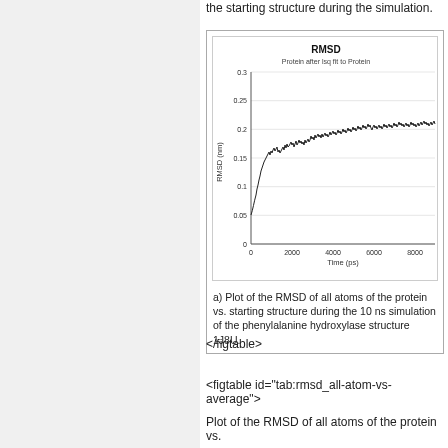the starting structure during the simulation.
[Figure (continuous-plot): Plot of RMSD (nm) vs Time (ps) for protein after lsq fit to Protein. The RMSD rises from about 0.1 nm at time 0 to approximately 0.2 nm by 2000 ps and then fluctuates around 0.2-0.22 nm out to ~9000 ps.]
a) Plot of the RMSD of all atoms of the protein vs. starting structure during the 10 ns simulation of the phenylalanine hydroxylase structure 1J8U.
</figtable>
<figtable id="tab:rmsd_all-atom-vs-average">
Plot of the RMSD of all atoms of the protein vs.